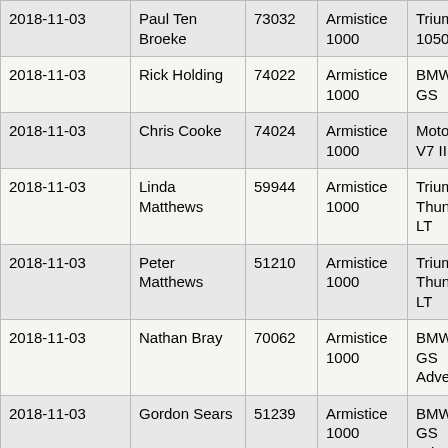| 2018-11-03 | Paul Ten Broeke | 73032 | Armistice 1000 | Triumph Tiger 1050 | Arm 100 |
| 2018-11-03 | Rick Holding | 74022 | Armistice 1000 | BMW R1200 GS | Arm 100 |
| 2018-11-03 | Chris Cooke | 74024 | Armistice 1000 | Moto Guzzi V7 III Stone | Arm 100 |
| 2018-11-03 | Linda Matthews | 59944 | Armistice 1000 | Triumph Thunderbird LT | Arm 100 |
| 2018-11-03 | Peter Matthews | 51210 | Armistice 1000 | Triumph Thunderbird LT | Arm 100 |
| 2018-11-03 | Nathan Bray | 70062 | Armistice 1000 | BMW R1200 GS Adventure | Arm 100 |
| 2018-11-03 | Gordon Sears | 51239 | Armistice 1000 | BMW R1200 GS Adventure | Arm 100 |
| 2018-11-03 | Norrie Masson | 70607 | Armistice 1000 | BMW R1200 GS Adventure | Arm 100 |
| 2018-11-03 | Bill Halley | 70012 | Armistice 1000 | BMW R1200 R | Arm 100 |